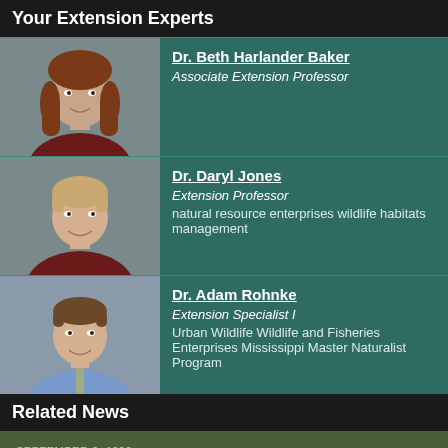Your Extension Experts
[Figure (photo): Headshot of Dr. Beth Harlander Baker, a woman with long auburn hair, smiling, wearing a dark top]
Dr. Beth Harlander Baker
Associate Extension Professor
[Figure (photo): Headshot of Dr. Daryl Jones, a man with short light hair, smiling, wearing a dark shirt]
Dr. Daryl Jones
Extension Professor
natural resource enterprises wildlife habitats management
[Figure (photo): Headshot of Dr. Adam Rohnke, a man with short brown hair, smiling, wearing a light blue shirt and tie]
Dr. Adam Rohnke
Extension Specialist I
Urban Wildlife Wildlife and Fisheries Enterprises
Mississippi Master Naturalist Program
Related News
SEPTEMBER 6, 1999
Migratory Waterfowl Hunters Face Changes